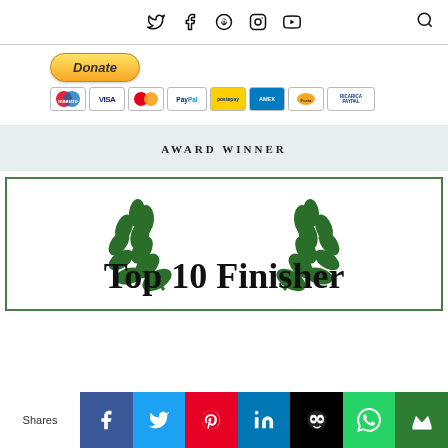Social navigation icons (Twitter, Facebook, Pinterest, Instagram, YouTube) and search icon
[Figure (screenshot): Donate button with PayPal and payment method icons (Maestro, Visa, MasterCard, PayPal, and others)]
AWARD WINNER
[Figure (illustration): Award badge with green laurel wreath and text 'Top 10 Finisher']
Shares | Facebook | Twitter | Pinterest | LinkedIn | Hootsuite | WhatsApp | Crown